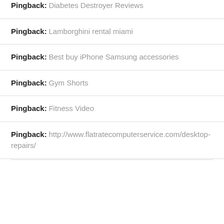Pingback: Diabetes Destroyer Reviews
Pingback: Lamborghini rental miami
Pingback: Best buy iPhone Samsung accessories
Pingback: Gym Shorts
Pingback: Fitness Video
Pingback: http://www.flatratecomputerservice.com/desktop-repairs/